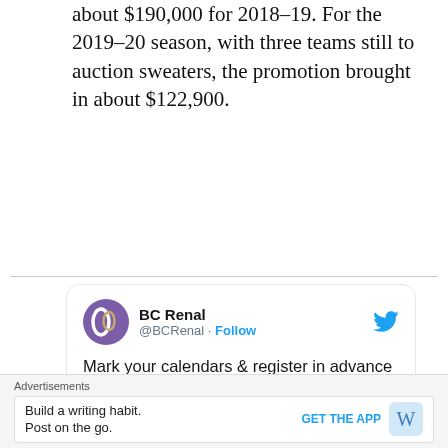about $190,000 for 2018–19. For the 2019–20 season, with three teams still to auction sweaters, the promotion brought in about $122,900.
[Figure (screenshot): Embedded tweet from @BCRenal about a kidney transplant webinar co-presented by @BC_Transplant, with follow button and Twitter bird logo.]
Mark your calendars & register in advance for our Oct. 1 webinar, Kidney Transplant & Finding a Living Donor, co-presented by @BC_Transplant! Join by computer, tablet or phone. Learn more from our poster linked here:
Advertisements
Build a writing habit. Post on the go. GET THE APP